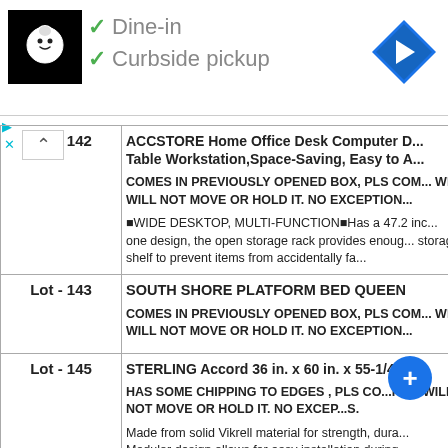[Figure (screenshot): App UI showing restaurant logo with checkmarks for Dine-in and Curbside pickup options, plus a navigation arrow icon]
| Lot | Description |
| --- | --- |
| Lot - 142 | ACCSTORE Home Office Desk Computer D... Table Workstation,Space-Saving, Easy to A...

COMES IN PREVIOUSLY OPENED BOX, PLS COM... WE WILL NOT MOVE OR HOLD IT. NO EXCEPTION...

■WIDE DESKTOP, MULTI-FUNCTION■Has a 47.2 inc... one design, the open storage rack provides enoug... storage shelf to prevent items from accidentally fa... |
| Lot - 143 | SOUTH SHORE PLATFORM BED QUEEN

COMES IN PREVIOUSLY OPENED BOX, PLS COM... WE WILL NOT MOVE OR HOLD IT. NO EXCEPTION... |
| Lot - 145 | STERLING Accord 36 in. x 60 in. x 55-1/4 in...

HAS SOME CHIPPING TO EDGES , PLS CO...PR... WILL NOT MOVE OR HOLD IT. NO EXCEP...S... Made from solid Vikrell material for strength, dura... Modular design allows for easy installation during... High gloss finish provides a smooth, shiny surf... |